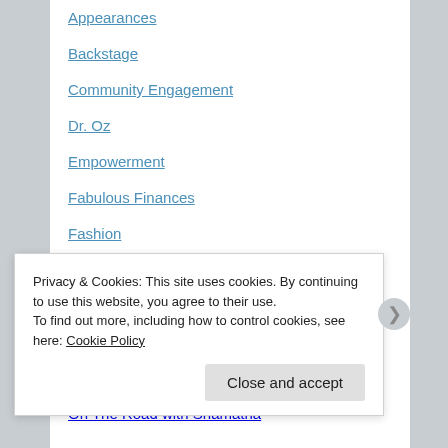Appearances
Backstage
Community Engagement
Dr. Oz
Empowerment
Fabulous Finances
Fashion
Features
Hair
Music
Natural Hair
On The Road with Shamatha
Privacy & Cookies: This site uses cookies. By continuing to use this website, you agree to their use.
To find out more, including how to control cookies, see here: Cookie Policy
Close and accept